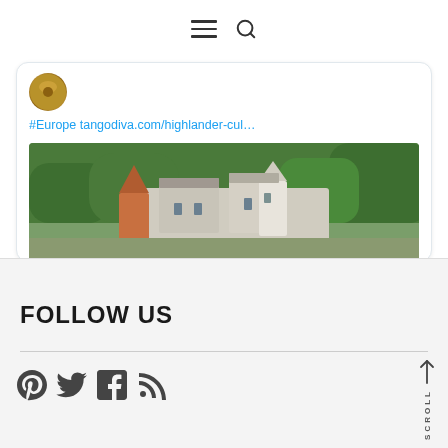Navigation bar with hamburger menu and search icon
[Figure (screenshot): Tweet card showing #Europe hashtag and tangodiva.com/highlander-cul... link with aerial photo of a castle surrounded by trees]
FOLLOW US
[Figure (infographic): Social media icons: Pinterest, Twitter, Facebook, RSS feed]
SCROLL